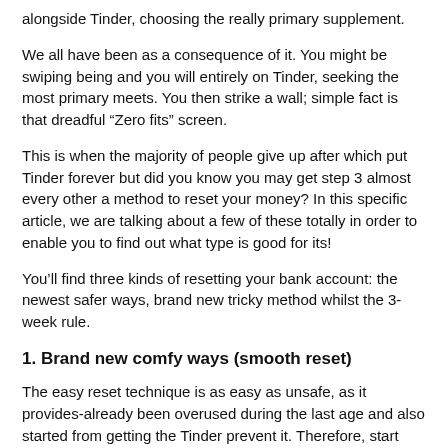alongside Tinder, choosing the really primary supplement.
We all have been as a consequence of it. You might be swiping being and you will entirely on Tinder, seeking the most primary meets. You then strike a wall; simple fact is that dreadful “Zero fits” screen.
This is when the majority of people give up after which put Tinder forever but did you know you may get step 3 almost every other a method to reset your money? In this specific article, we are talking about a few of these totally in order to enable you to find out what type is good for its!
You’ll find three kinds of resetting your bank account: the newest safer ways, brand new tricky method whilst the 3-week rule.
1. Brand new comfy ways (smooth reset)
The easy reset technique is as easy as unsafe, as it provides-already been overused during the last age and also started from getting the Tinder prevent it. Therefore, start over...